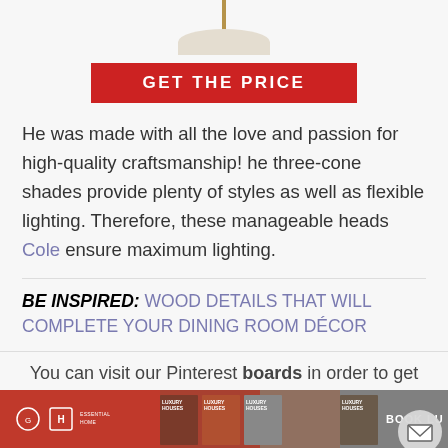[Figure (illustration): Partial view of a lamp with gold/brass stem and light-colored shade at the top of the page]
GET THE PRICE
He was made with all the love and passion for high-quality craftsmanship! he three-cone shades provide plenty of styles as well as flexible lighting. Therefore, these manageable heads Cole ensure maximum lighting.
BE INSPIRED: WOOD DETAILS THAT WILL COMPLETE YOUR DINING ROOM DÉCOR
You can visit our Pinterest boards in order to get more inspirations. Get more ideas for your projects and find
[Figure (illustration): Footer navigation bar with brand logos, book thumbnails, and a mail button]